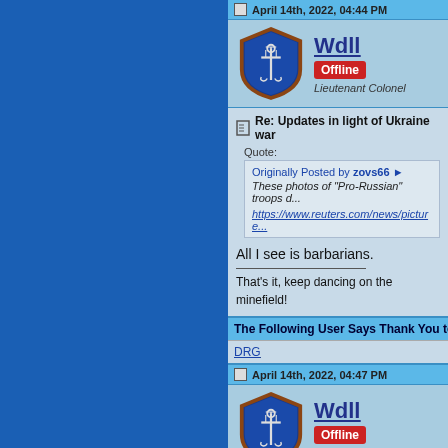April 14th, 2022, 04:44 PM
[Figure (logo): Military naval unit shield emblem/avatar for user Wdll]
Wdll  Offline  Lieutenant Colonel
Re: Updates in light of Ukraine war
Quote:
Originally Posted by zovs66
These photos of "Pro-Russian" troops d...
https://www.reuters.com/news/picture...
All I see is barbarians.
That's it, keep dancing on the minefield!
The Following User Says Thank You to W
DRG
April 14th, 2022, 04:47 PM
[Figure (logo): Military naval unit shield emblem/avatar for user Wdll]
Wdll  Offline  Lieutenant Colonel